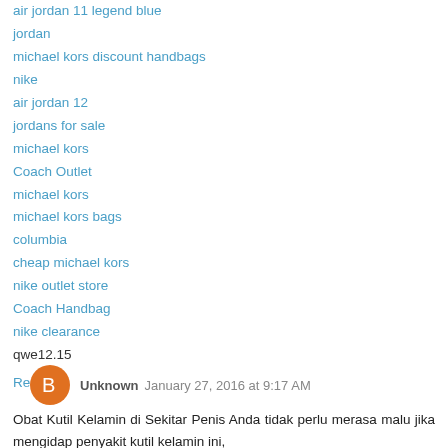air jordan 11 legend blue
jordan
michael kors discount handbags
nike
air jordan 12
jordans for sale
michael kors
Coach Outlet
michael kors
michael kors bags
columbia
cheap michael kors
nike outlet store
Coach Handbag
nike clearance
qwe12.15
Reply
Unknown  January 27, 2016 at 9:17 AM
Obat Kutil Kelamin di Sekitar Penis Anda tidak perlu merasa malu jika mengidap penyakit kutil kelamin ini,